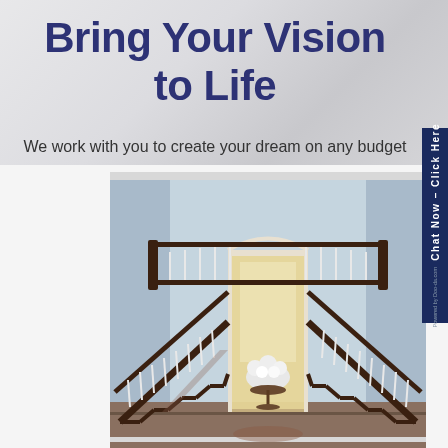Bring Your Vision to Life
We work with you to create your dream on any budget
[Figure (photo): Grand foyer with elegant double staircases, dark wood banisters with white balusters on both sides, light blue walls, white arched doorway in the center with a floral arrangement and decorative table in the foreground, upper landing with railing visible at top]
Chat Now – Click Here